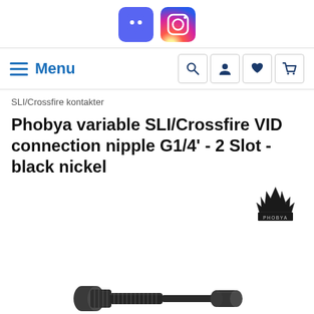[Figure (screenshot): Website header with Discord and Instagram social media icons]
Menu | Search | User | Wishlist | Cart
SLI/Crossfire kontakter
Phobya variable SLI/Crossfire VID connection nipple G1/4' - 2 Slot - black nickel
[Figure (photo): Product photo of a black nickel metal nipple connector fitting, cylindrical shape with threaded ends and knurled section in the middle]